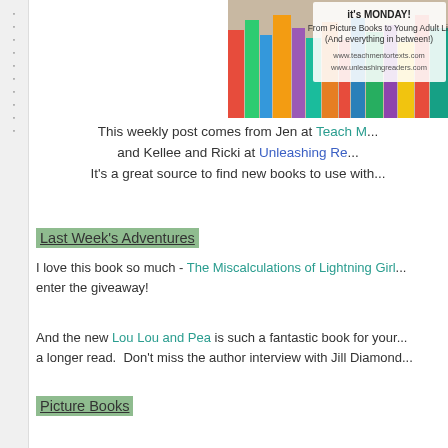[Figure (illustration): Blog header image showing books on a shelf with text overlay: 'From Picture Books to Young Adult Lit (And everything in between!)' and URLs www.teachmentortexts.com and www.unleashingreaders.com]
This weekly post comes from Jen at Teach M... and Kellee and Ricki at Unleashing Re... It's a great source to find new books to use with...
Last Week's Adventures
I love this book so much - The Miscalculations of Lightning Girl... enter the giveaway!
And the new Lou Lou and Pea is such a fantastic book for your... a longer read. Don't miss the author interview with Jill Diamond...
Picture Books